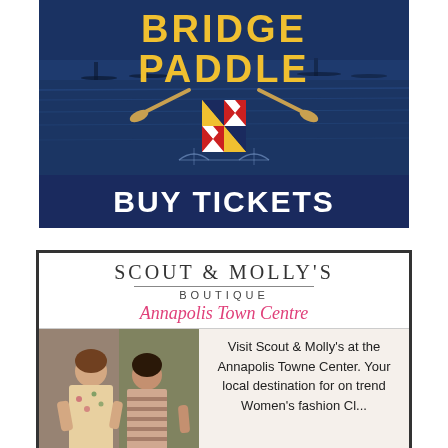[Figure (illustration): Bridge Paddle event advertisement with dark navy blue background, water/kayaking scene photo, yellow text reading BRIDGE PADDLE with paddle logo and Maryland flag emblem, and a BUY TICKETS call-to-action bar]
[Figure (illustration): Scout & Molly's Boutique advertisement for Annapolis Town Centre location, featuring logo text, photo of two women in the boutique store, and text describing it as a local destination for on trend Women's fashion]